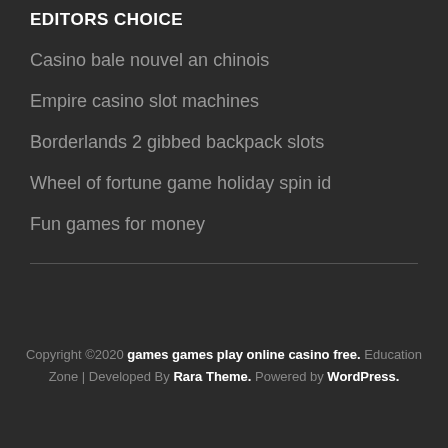EDITORS CHOICE
Casino bale nouvel an chinois
Empire casino slot machines
Borderlands 2 gibbed backpack slots
Wheel of fortune game holiday spin id
Fun games for money
Copyright ©2020 games games play online casino free. Education Zone | Developed By Rara Theme. Powered by WordPress.